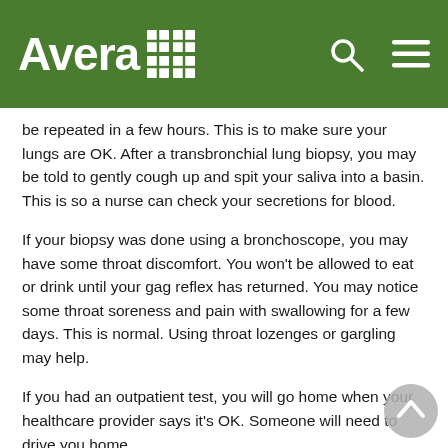Avera [logo]
be repeated in a few hours. This is to make sure your lungs are OK. After a transbronchial lung biopsy, you may be told to gently cough up and spit your saliva into a basin. This is so a nurse can check your secretions for blood.
If your biopsy was done using a bronchoscope, you may have some throat discomfort. You won't be allowed to eat or drink until your gag reflex has returned. You may notice some throat soreness and pain with swallowing for a few days. This is normal. Using throat lozenges or gargling may help.
If you had an outpatient test, you will go home when your healthcare provider says it's OK. Someone will need to drive you home.